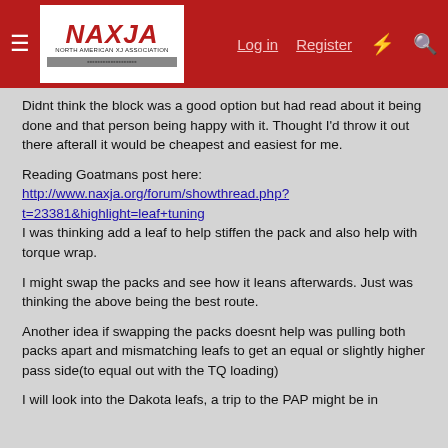NAXJA — North American XJ Association | Log in | Register
Didnt think the block was a good option but had read about it being done and that person being happy with it. Thought I'd throw it out there afterall it would be cheapest and easiest for me.
Reading Goatmans post here:
http://www.naxja.org/forum/showthread.php?t=23381&highlight=leaf+tuning
I was thinking add a leaf to help stiffen the pack and also help with torque wrap.
I might swap the packs and see how it leans afterwards. Just was thinking the above being the best route.
Another idea if swapping the packs doesnt help was pulling both packs apart and mismatching leafs to get an equal or slightly higher pass side(to equal out with the TQ loading)
I will look into the Dakota leafs, a trip to the PAP might be in